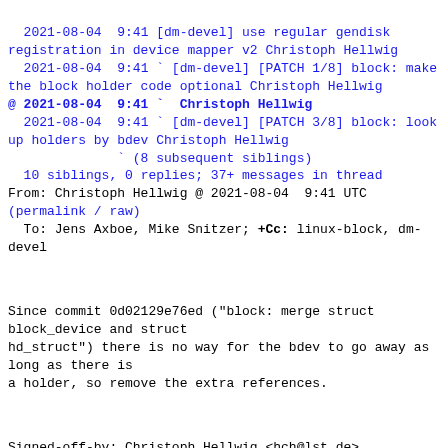2021-08-04  9:41 [dm-devel] use regular gendisk registration in device mapper v2 Christoph Hellwig
  2021-08-04  9:41 ` [dm-devel] [PATCH 1/8] block: make the block holder code optional Christoph Hellwig
@ 2021-08-04  9:41 `  Christoph Hellwig
  2021-08-04  9:41 ` [dm-devel] [PATCH 3/8] block: look up holders by bdev Christoph Hellwig
              ` (8 subsequent siblings)
  10 siblings, 0 replies; 37+ messages in thread
From: Christoph Hellwig @ 2021-08-04  9:41 UTC
(permalink / raw)
  To: Jens Axboe, Mike Snitzer; +Cc: linux-block, dm-devel
Since commit 0d02129e76ed ("block: merge struct block_device and struct
hd_struct") there is no way for the bdev to go away as long as there is
a holder, so remove the extra references.
Signed-off-by: Christoph Hellwig <hch@lst.de>
Reviewed-by: Mike Snitzer <snitzer@redhat.com>
---
 block/holder.c | 6 ------
 1 file changed, 6 deletions(-)
diff --git a/block/holder.c b/block/holder.c
index 904a1dcd5c12..960654a71342 100644
--- a/block/holder.c
+++ b/block/holder.c